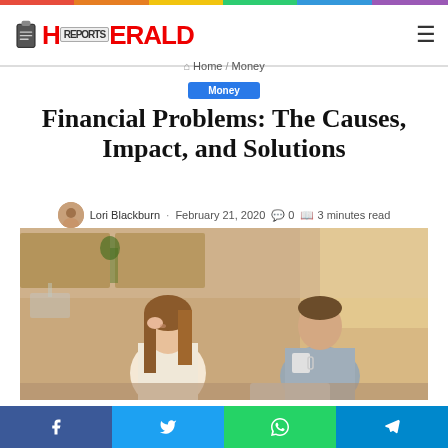Herald Reports
Home / Money
Money
Financial Problems: The Causes, Impact, and Solutions
Lori Blackburn · February 21, 2020 · 0 · 3 minutes read
[Figure (photo): A stressed woman holding her head and a man sitting at a kitchen table, both appearing worried, with a laptop open in front of them.]
Social share bar: Facebook, Twitter, WhatsApp, Telegram